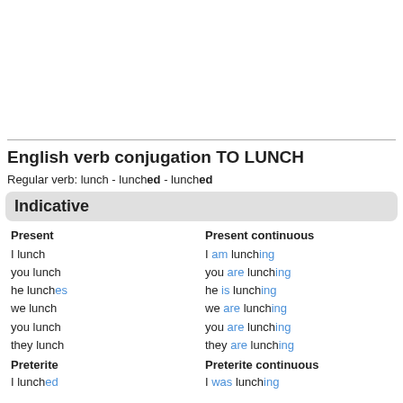English verb conjugation TO LUNCH
Regular verb: lunch - lunched - lunched
Indicative
| Present | Present continuous |
| --- | --- |
| I lunch | I am lunching |
| you lunch | you are lunching |
| he lunches | he is lunching |
| we lunch | we are lunching |
| you lunch | you are lunching |
| they lunch | they are lunching |
| Preterite | Preterite continuous |
| --- | --- |
| I lunched | I was lunching |